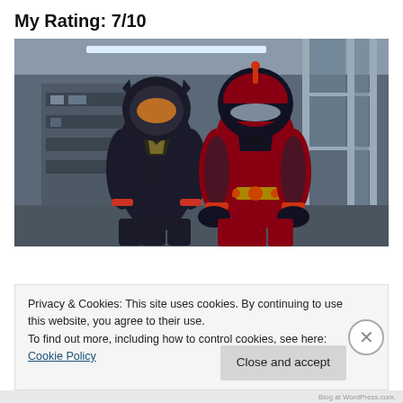My Rating: 7/10
[Figure (photo): Two Marvel superhero characters in costume — the Wasp (black suit with gold accents) and Ant-Man (red and black suit) — standing in front of a store with glass doors and windows.]
Privacy & Cookies: This site uses cookies. By continuing to use this website, you agree to their use.
To find out more, including how to control cookies, see here: Cookie Policy